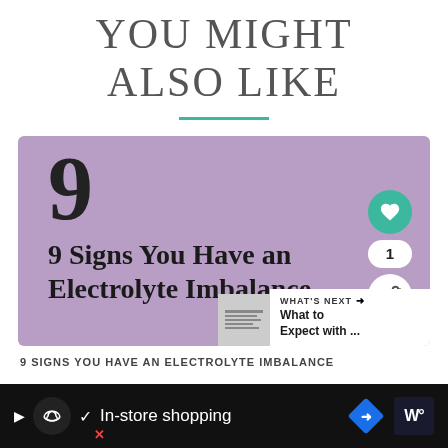YOU MIGHT ALSO LIKE
[Figure (screenshot): Article card with purple background showing '9 Signs You Have an Electrolyte Imbalance' with heart, share count (1), and share button icons. A 'What's Next' overlay shows 'What to Expect with ...' with a thumbnail.]
9 SIGNS YOU HAVE AN ELECTROLYTE IMBALANCE
[Figure (screenshot): Advertisement bar with dark background showing a branded infinity loop icon, checkmark, 'In-store shopping' text, blue diamond navigation icon, and 'W' logo. An X/close button visible bottom left.]